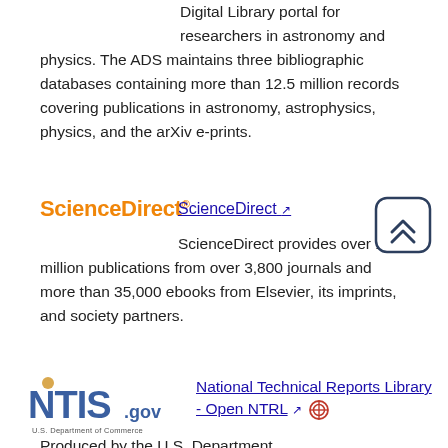Digital Library portal for researchers in astronomy and physics. The ADS maintains three bibliographic databases containing more than 12.5 million records covering publications in astronomy, astrophysics, physics, and the arXiv e-prints.
[Figure (logo): ScienceDirect logo in orange bold text]
ScienceDirect [external link]
ScienceDirect provides over 14 million publications from over 3,800 journals and more than 35,000 ebooks from Elsevier, its imprints, and society partners.
[Figure (other): Scroll-to-top button: rounded square with double chevron up icon]
[Figure (logo): NTIS.gov U.S. Department of Commerce logo]
National Technical Reports Library - Open NTRL [external link] [open access icon]
Produced by the U.S. Department